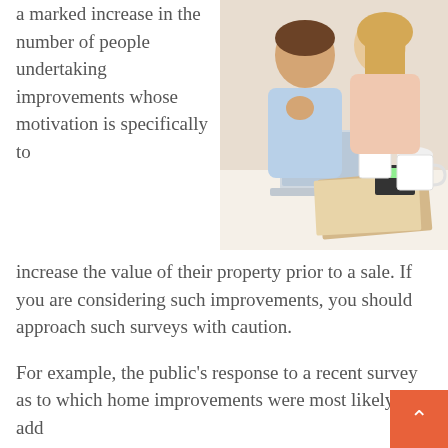a marked increase in the number of people undertaking improvements whose motivation is specifically to increase the value of their property prior to a sale. If you are considering such improvements, you should approach such surveys with caution.
[Figure (photo): A couple sitting together looking at a laptop computer, with papers and a calculator on the table in front of them, and the woman holding a mug.]
For example, the public’s response to a recent survey as to which home improvements were most likely to add